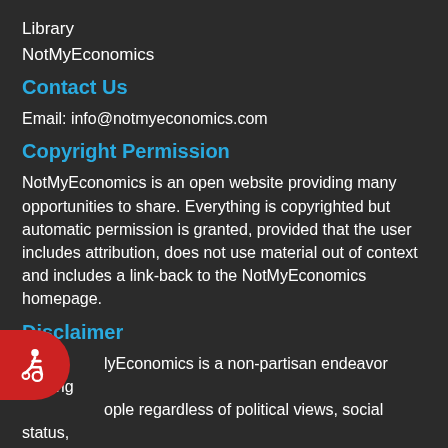Library
NotMyEconomics
Contact Us
Email: info@notmyeconomics.com
Copyright Permission
NotMyEconomics is an open website providing many opportunities to share. Everything is copyrighted but automatic permission is granted, provided that the user includes attribution, does not use material out of context and includes a link-back to the NotMyEconomics homepage.
Disclaimer
NotMyEconomics is a non-partisan endeavor serving people regardless of political views, social status, nationality, religion, age, race, color or creed.
COWORK Entrepreneurs is a developing profit-for-